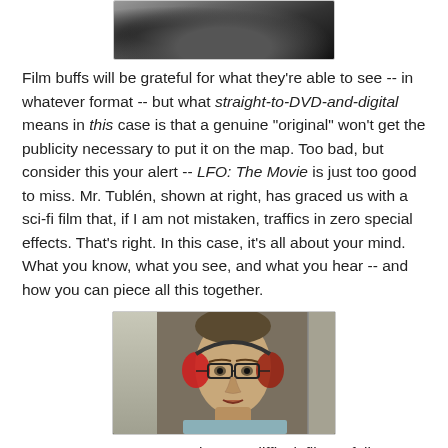[Figure (photo): Top portion of a black and white photograph, showing a dark, partially cropped image.]
Film buffs will be grateful for what they're able to see -- in whatever format -- but what straight-to-DVD-and-digital means in this case is that a genuine "original" won't get the publicity necessary to put it on the map. Too bad, but consider this your alert -- LFO: The Movie is just too good to miss. Mr. Tublén, shown at right, has graced us with a sci-fi film that, if I am not mistaken, traffics in zero special effects. That's right. In this case, it's all about your mind. What you know, what you see, and what you hear -- and how you can piece all this together.
[Figure (photo): Movie still from LFO showing a nerdy man wearing glasses and red headphones, with a kitchen background featuring checkerboard tiles.]
Don't get me wrong. LFO is not a difficult film to follow. It's rather simple, in fact. A nerdy, techie who specializes in